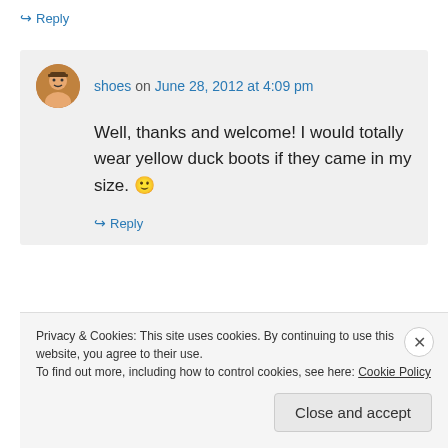↪ Reply
shoes on June 28, 2012 at 4:09 pm
Well, thanks and welcome! I would totally wear yellow duck boots if they came in my size. 🙂
↪ Reply
Privacy & Cookies: This site uses cookies. By continuing to use this website, you agree to their use.
To find out more, including how to control cookies, see here: Cookie Policy